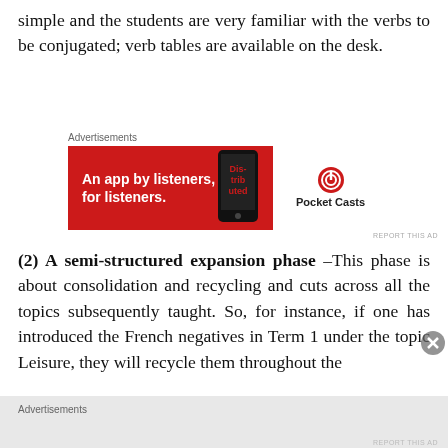simple and the students are very familiar with the verbs to be conjugated; verb tables are available on the desk.
[Figure (other): Advertisement banner for Pocket Casts app: red background with text 'An app by listeners, for listeners.' and Pocket Casts logo on white panel on right, phone image in center.]
(2) A semi-structured expansion phase –This phase is about consolidation and recycling and cuts across all the topics subsequently taught. So, for instance, if one has introduced the French negatives in Term 1 under the topic Leisure, they will recycle them throughout the
Advertisements